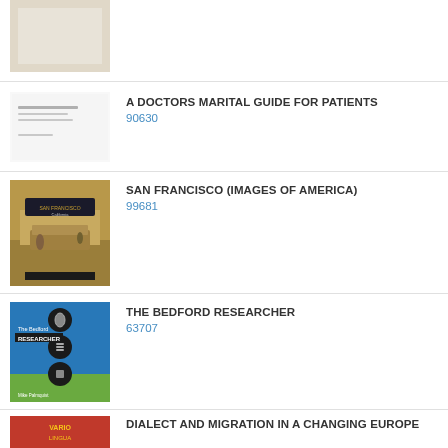[Figure (illustration): Partial book cover, beige/cream colored, top of page cropped]
[Figure (illustration): Small thumbnail of document with horizontal lines]
A DOCTORS MARITAL GUIDE FOR PATIENTS
90630
[Figure (photo): Book cover: San Francisco (Images of America), sepia-toned historic street scene with trolley]
SAN FRANCISCO (IMAGES OF AMERICA)
99681
[Figure (illustration): Book cover: The Bedford Researcher, blue cover with circular icons]
THE BEDFORD RESEARCHER
63707
[Figure (illustration): Book cover: Dialect and Migration in a Changing Europe, red Vario Lingua cover]
DIALECT AND MIGRATION IN A CHANGING EUROPE